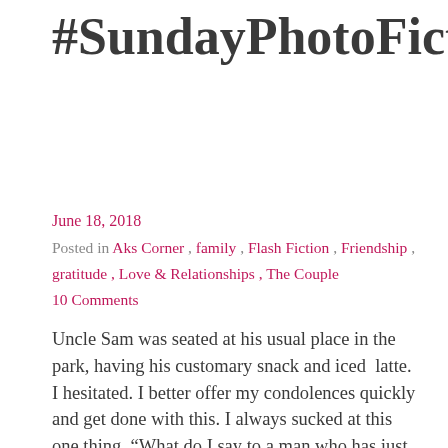#SundayPhotoFiction
June 18, 2018
Posted in Aks Corner, family, Flash Fiction, Friendship, gratitude, Love & Relationships, The Couple
10 Comments
Uncle Sam was seated at his usual place in the park, having his customary snack and iced latte. I hesitated. I better offer my condolences quickly and get done with this. I always sucked at this one thing. “What do I say to a man who has just lost his companion of 35 years?” As… Continue reading